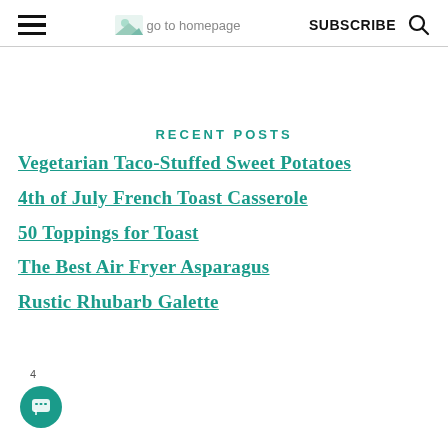go to homepage | SUBSCRIBE
RECENT POSTS
Vegetarian Taco-Stuffed Sweet Potatoes
4th of July French Toast Casserole
50 Toppings for Toast
The Best Air Fryer Asparagus
Rustic Rhubarb Galette
4